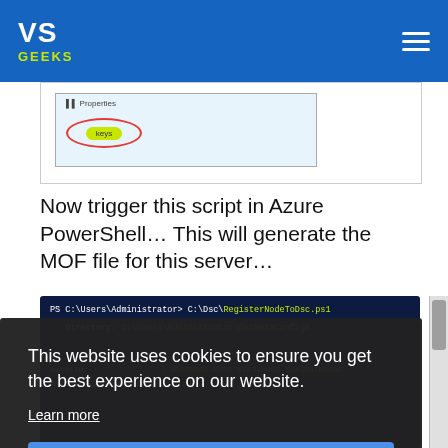VS GEEKS
[Figure (screenshot): Partial screenshot showing a properties panel with a 'keys' badge highlighted with a red oval circle annotation]
Now trigger this script in Azure PowerShell… This will generate the MOF file for this server…
[Figure (screenshot): PowerShell terminal showing: PS C:\Users\Administrator> C:\Dsc\RegisterNodeToDsc.ps1  Directory: C:\Users\Administrator\DscMetaConfigs  AgentId : 8D023839-0350-11E7-A952-02A1847B009D  AllowModuleOverWrite : False]
This website uses cookies to ensure you get the best experience on our website.
Learn more
Got it!